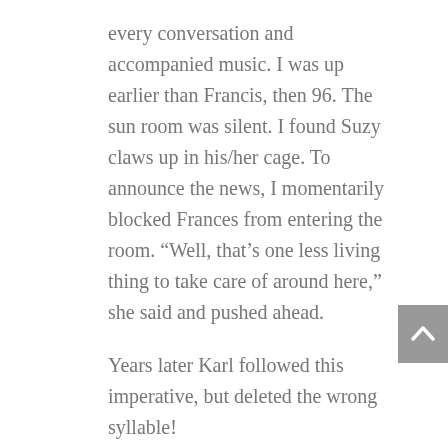every conversation and accompanied music. I was up earlier than Francis, then 96.  The sun room was silent. I found Suzy claws up in his/her cage.  To announce the news, I momentarily blocked Frances from entering the room.  “Well, that’s one less living thing to take care of around here,” she said and pushed ahead.
Years later Karl followed this imperative, but deleted the wrong syllable!
At the time she wrote the book she’d forgotten that Eric Kleiber was the conductor.  Beecham was in the audience. 1976???
In which my right ear can be seen behind Maurice Abravanel in  photo 37 taken at the 80th birthday party.
Addendum